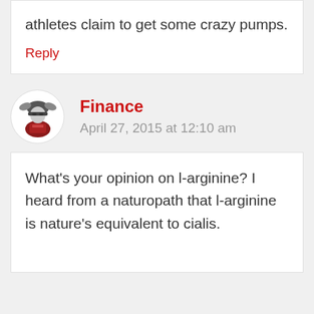athletes claim to get some crazy pumps.
Reply
Finance
April 27, 2015 at 12:10 am
What's your opinion on l-arginine? I heard from a naturopath that l-arginine is nature's equivalent to cialis.